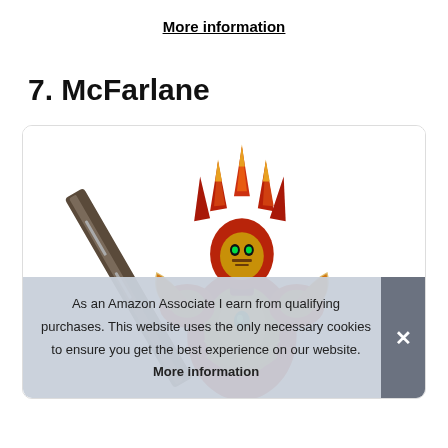More information
7. McFarlane
[Figure (photo): McFarlane action figure — a red and gold armored warrior character with flame-like helmet spikes, holding a large sword, shown from upper body]
As an Amazon Associate I earn from qualifying purchases. This website uses the only necessary cookies to ensure you get the best experience on our website. More information